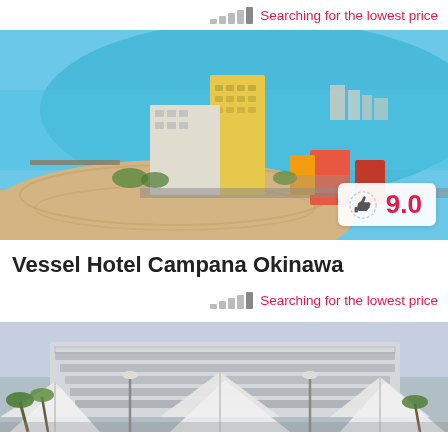Searching for the lowest price
[Figure (photo): Aerial view of Vessel Hotel Campana Okinawa with beach, turquoise sea, and coastal buildings. Rating badge shows thumbs up icon and 9.0 score.]
Vessel Hotel Campana Okinawa
Searching for the lowest price
[Figure (photo): Exterior view of a modern hotel building with tiered architecture, palm trees and large white canopy structures at dusk.]